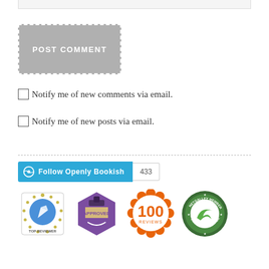[Figure (screenshot): Gray input/text field bar at top of page]
[Figure (screenshot): POST COMMENT button, gray with dashed white border]
Notify me of new comments via email.
Notify me of new posts via email.
[Figure (screenshot): Follow Openly Bookish WordPress follow button with count 433]
[Figure (logo): Four badges: Top Reviewer star badge, Approved stamp badge, 100 Reviews orange badge, NetGalley Member Professional Reader badge]